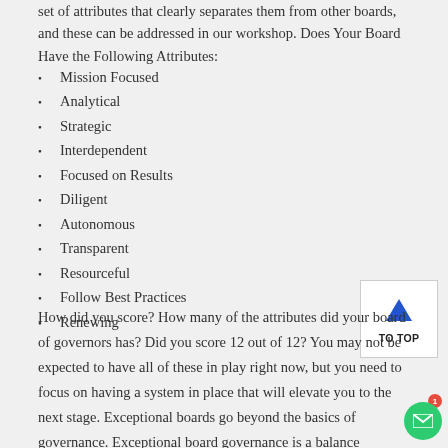set of attributes that clearly separates them from other boards, and these can be addressed in our workshop. Does Your Board Have the Following Attributes:
Mission Focused
Analytical
Strategic
Interdependent
Focused on Results
Diligent
Autonomous
Transparent
Resourceful
Follow Best Practices
Renewing
How did you score? How many of the attributes did your board of governors has? Did you score 12 out of 12? You may not be expected to have all of these in play right now, but you need to focus on having a system in place that will elevate you to the next stage. Exceptional boards go beyond the basics of governance. Exceptional board governance is a balance between roles – an